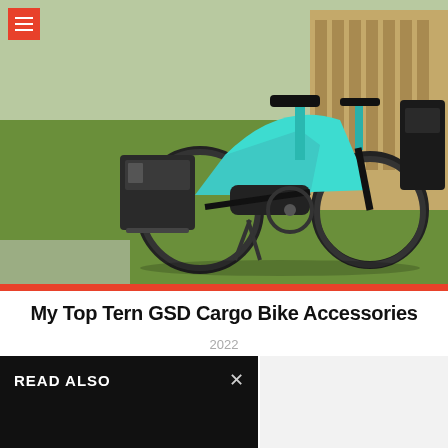[Figure (photo): A teal/turquoise Tern GSD cargo e-bike with black panniers parked on grass, with another bike visible behind it.]
My Top Tern GSD Cargo Bike Accessories
2022
READ ALSO